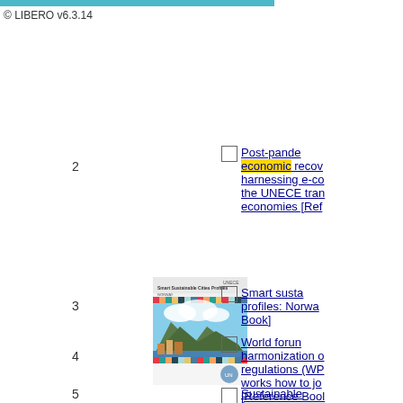© LIBERO v6.3.14
2
Post-pandemic economic recovery harnessing e-commerce UNECE transition economies [Reference Book]
3
[Figure (photo): Book cover: Smart Sustainable Cities Profiles - Norway, UNECE]
Smart sustainable cities profiles: Norway [Reference Book]
4
World forum harmonization of vehicle regulations (WP.29) how it works how to join it [Reference Book]
5
Sustainable development goals: halfway there